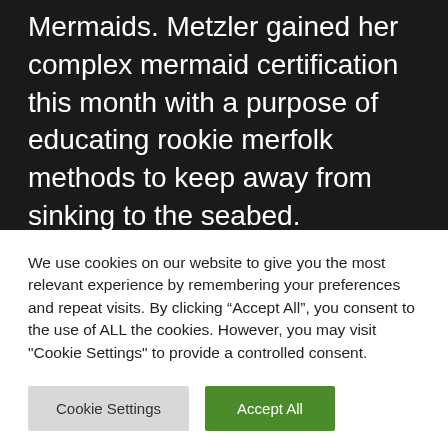Mermaids. Metzler gained her complex mermaid certification this month with a purpose of educating rookie merfolk methods to keep away from sinking to the seabed.
We use cookies on our website to give you the most relevant experience by remembering your preferences and repeat visits. By clicking “Accept All”, you consent to the use of ALL the cookies. However, you may visit "Cookie Settings" to provide a controlled consent.